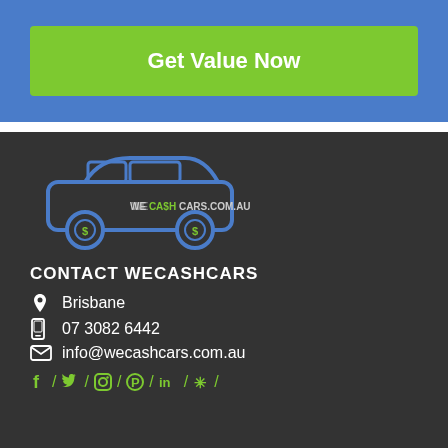Get Value Now
[Figure (logo): WeCashCars.com.au logo — a car silhouette with dollar signs on wheels and the text 'WE CA$H CARS.COM.AU' inside]
CONTACT WECASHCARS
Brisbane
07 3082 6442
info@wecashcars.com.au
f / / / / in / * /